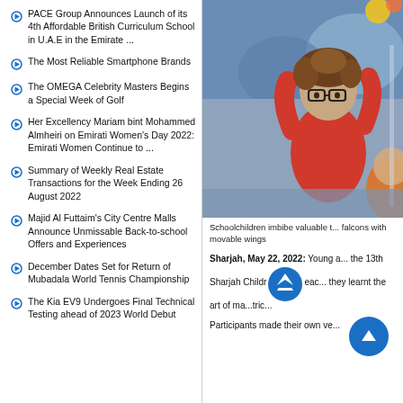PACE Group Announces Launch of its 4th Affordable British Curriculum School in U.A.E in the Emirate ...
The Most Reliable Smartphone Brands
The OMEGA Celebrity Masters Begins a Special Week of Golf
Her Excellency Mariam bint Mohammed Almheiri on Emirati Women's Day 2022: Emirati Women Continue to ...
Summary of Weekly Real Estate Transactions for the Week Ending 26 August 2022
Majid Al Futtaim's City Centre Malls Announce Unmissable Back-to-school Offers and Experiences
December Dates Set for Return of Mubadala World Tennis Championship
The Kia EV9 Undergoes Final Technical Testing ahead of 2023 World Debut
[Figure (photo): A child with glasses and curly hair wearing a red shirt, raising arms at what appears to be the Sharjah Children's Reading Festival exhibit with colorful decor in background.]
Schoolchildren imbibe valuable t... falcons with movable wings
Sharjah, May 22, 2022: Young a... the 13th Sharjah Childr... they learnt the art of ma... tric...
Participants made their own ve...